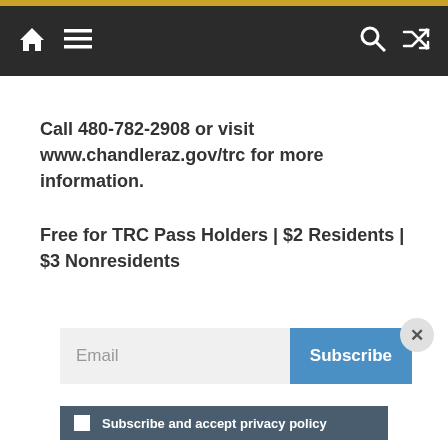Navigation bar with home, menu, search, and shuffle icons
Call 480-782-2908 or visit www.chandleraz.gov/trc for more information.
Free for TRC Pass Holders | $2 Residents | $3 Nonresidents
[Figure (screenshot): Email subscription form with input field labeled 'Email' and a blue 'Subscribe' button, with a close (x) button in the top right corner]
Subscribe and accept privacy policy